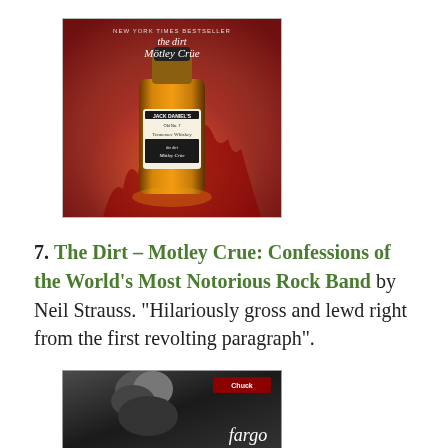[Figure (photo): Book cover of The Dirt by Motley Crue showing a bottle of Jack Daniel's whiskey on a red background with band name text]
7. The Dirt – Motley Crue: Confessions of the World’s Most Notorious Rock Band by Neil Strauss. “Hilariously gross and lewd right from the first revolting paragraph”.
[Figure (photo): Book cover showing a black and white image of a person with text 'fargo' at the bottom]